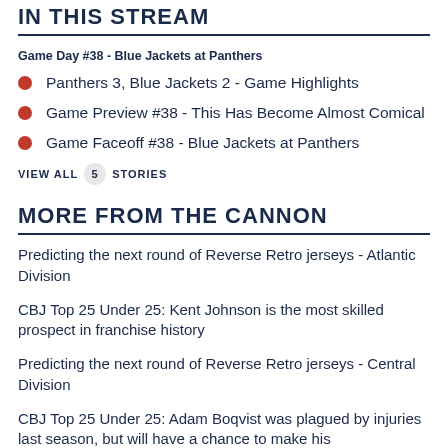IN THIS STREAM
Game Day #38 - Blue Jackets at Panthers
Panthers 3, Blue Jackets 2 - Game Highlights
Game Preview #38 - This Has Become Almost Comical
Game Faceoff #38 - Blue Jackets at Panthers
VIEW ALL 5 STORIES
MORE FROM THE CANNON
Predicting the next round of Reverse Retro jerseys - Atlantic Division
CBJ Top 25 Under 25: Kent Johnson is the most skilled prospect in franchise history
Predicting the next round of Reverse Retro jerseys - Central Division
CBJ Top 25 Under 25: Adam Boqvist was plagued by injuries last season, but will have a chance to make his